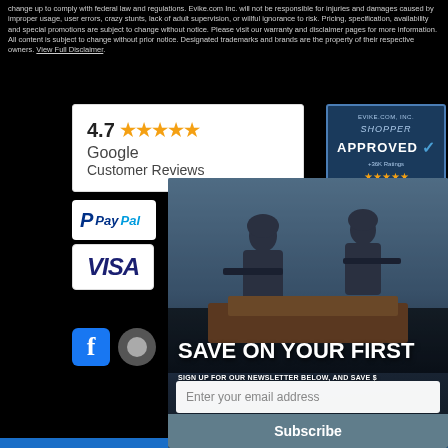change up to comply with federal law and regulations. Evike.com Inc. will not be responsible for injuries and damages caused by improper usage, user errors, crazy stunts, lack of adult supervision, or willful ignorance to risk. Pricing, specification, availability and special promotions are subject to change without notice. Please visit our warranty and disclaimer pages for more information. All content is subject to change without prior notice. Designated trademarks and brands are the property of their respective owners. View Full Disclaimer.
[Figure (other): Google Customer Reviews badge showing 4.7 stars rating]
[Figure (other): Evike.com Inc. Shopper Approved badge with 436K ratings and 5 stars]
[Figure (other): PayPal payment badge (two instances)]
[Figure (other): Visa payment badge]
[Figure (other): Pop-up overlay showing soldiers/military personnel, with newsletter signup: SAVE ON YOUR FIRST ORDER, SIGN UP FOR OUR NEWSLETTER BELOW, AND SAVE $, email input field, and Subscribe button]
[Figure (other): Facebook and social media icon buttons]